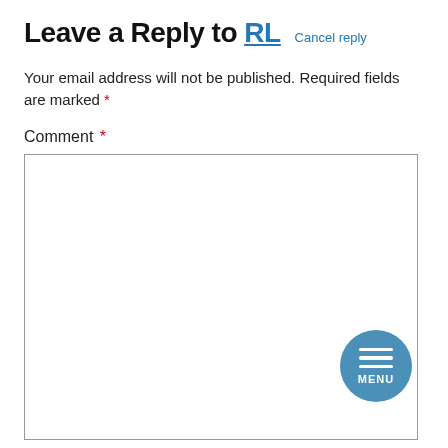Leave a Reply to RL  Cancel reply
Your email address will not be published. Required fields are marked *
Comment *
[Figure (screenshot): Large empty comment text area input box with border]
[Figure (infographic): Circular blue MENU button with three horizontal lines]
Name *
[Figure (screenshot): Small empty name text input box with border]